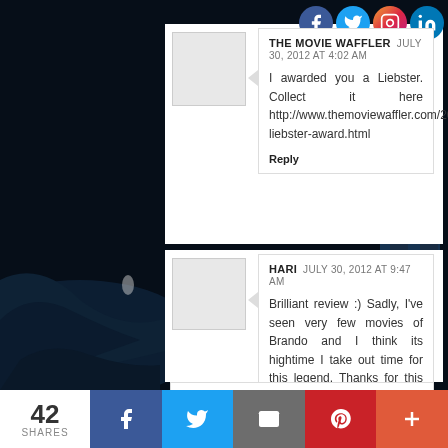[Figure (screenshot): Dark space/moon scene background image with an astronaut figure on the right and a small figure in the distance on the left]
[Figure (infographic): Social media icons: Facebook (blue circle), Twitter (light blue circle), Instagram (gradient circle), LinkedIn (blue circle)]
THE MOVIE WAFFLER  JULY 30, 2012 AT 4:02 AM
I awarded you a Liebster. Collect it here http://www.themoviewaffler.com/2012/07/the-liebster-award.html
Reply
HARI  JULY 30, 2012 AT 9:47 AM
Brilliant review :) Sadly, I've seen very few movies of Brando and I think its hightime I take out time for this legend. Thanks for this review because now I'm all charged up to watch all his films :)
Reply
42 SHARES